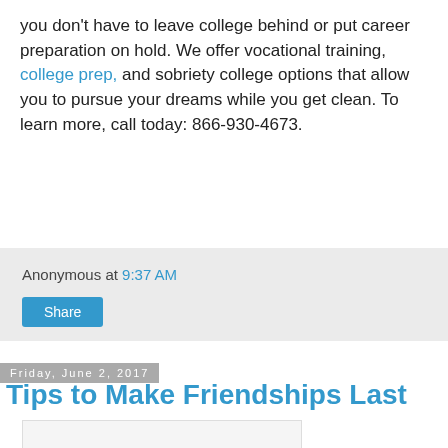you don't have to leave college behind or put career preparation on hold. We offer vocational training, college prep, and sobriety college options that allow you to pursue your dreams while you get clean. To learn more, call today: 866-930-4673.
Anonymous at 9:37 AM
Share
Friday, June 2, 2017
Tips to Make Friendships Last
[Figure (photo): Partially visible image placeholder with a grey triangle/mountain icon at the bottom center]